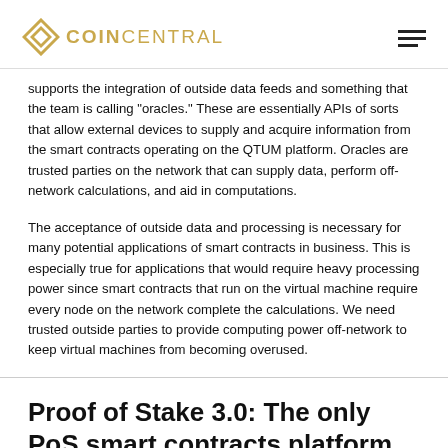COIN CENTRAL
supports the integration of outside data feeds and something that the team is calling "oracles." These are essentially APIs of sorts that allow external devices to supply and acquire information from the smart contracts operating on the QTUM platform. Oracles are trusted parties on the network that can supply data, perform off-network calculations, and aid in computations.
The acceptance of outside data and processing is necessary for many potential applications of smart contracts in business. This is especially true for applications that would require heavy processing power since smart contracts that run on the virtual machine require every node on the network complete the calculations. We need trusted outside parties to provide computing power off-network to keep virtual machines from becoming overused.
Proof of Stake 3.0: The only PoS smart contracts platform